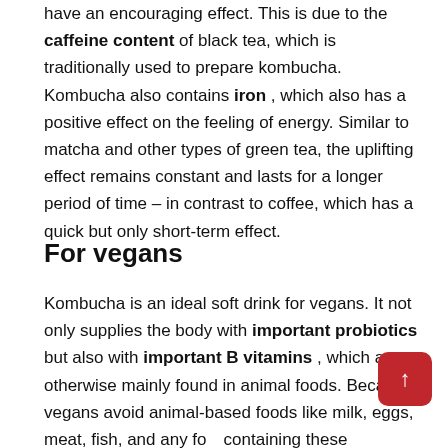have an encouraging effect. This is due to the caffeine content of black tea, which is traditionally used to prepare kombucha. Kombucha also contains iron , which also has a positive effect on the feeling of energy. Similar to matcha and other types of green tea, the uplifting effect remains constant and lasts for a longer period of time – in contrast to coffee, which has a quick but only short-term effect.
For vegans
Kombucha is an ideal soft drink for vegans. It not only supplies the body with important probiotics but also with important B vitamins , which are otherwise mainly found in animal foods. Because vegans avoid animal-based foods like milk, eggs, meat, fish, and any foods containing these ingredients, they need to get adequate